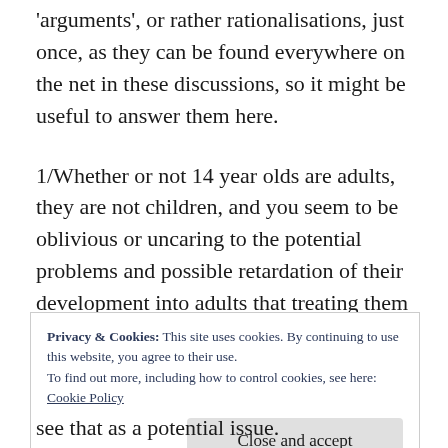'arguments', or rather rationalisations, just once, as they can be found everywhere on the net in these discussions, so it might be useful to answer them here.
1/Whether or not 14 year olds are adults, they are not children, and you seem to be oblivious or uncaring to the potential problems and possible retardation of their development into adults that treating them as sexless 4
Privacy & Cookies: This site uses cookies. By continuing to use this website, you agree to their use.
To find out more, including how to control cookies, see here:
Cookie Policy
see that as a potential issue.